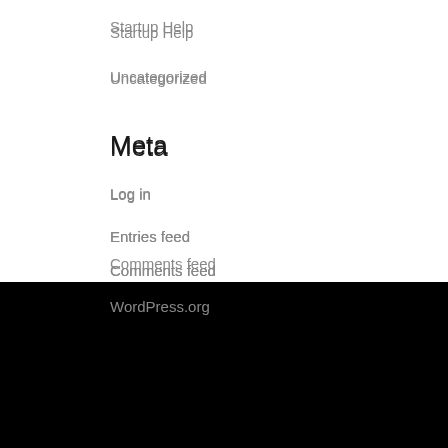Startup Help
Uncategorized
Meta
Log in
Entries feed
Comments feed
WordPress.org
RECENT POSTS
Top 6 Ways Drone Can Help Elevate Product Design Marketing
The 3 Essentials To Take Care Of When Building A